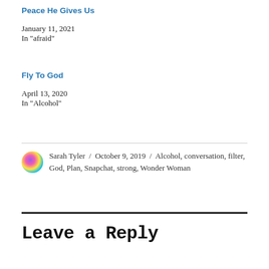Peace He Gives Us
January 11, 2021
In "afraid"
Fly To God
April 13, 2020
In "Alcohol"
Sarah Tyler / October 9, 2019 / Alcohol, conversation, filter, God, Plan, Snapchat, strong, Wonder Woman
Leave a Reply